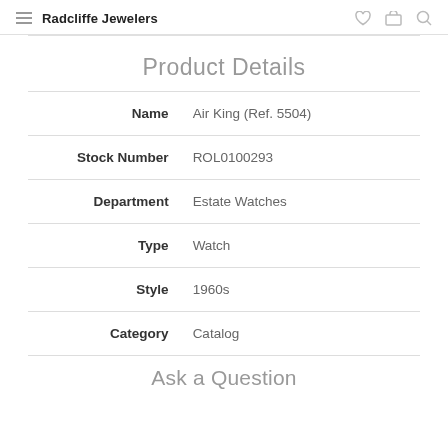Radcliffe Jewelers
Product Details
| Field | Value |
| --- | --- |
| Name | Air King (Ref. 5504) |
| Stock Number | ROL0100293 |
| Department | Estate Watches |
| Type | Watch |
| Style | 1960s |
| Category | Catalog |
Ask a Question